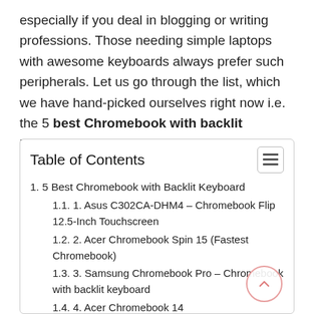especially if you deal in blogging or writing professions. Those needing simple laptops with awesome keyboards always prefer such peripherals. Let us go through the list, which we have hand-picked ourselves right now i.e. the 5 best Chromebook with backlit keyboard devices.
Table of Contents
1. 5 Best Chromebook with Backlit Keyboard
1.1. 1. Asus C302CA-DHM4 – Chromebook Flip 12.5-Inch Touchscreen
1.2. 2. Acer Chromebook Spin 15 (Fastest Chromebook)
1.3. 3. Samsung Chromebook Pro – Chromebook with backlit keyboard
1.4. 4. Acer Chromebook 14
1.5. 5. 2019 Premium Pavilion X360 –